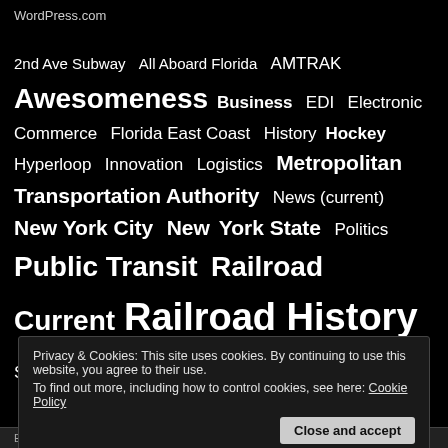WordPress.com
2nd Ave Subway  All Aboard Florida  AMTRAK  Awesomeness  Business  EDI  Electronic Commerce  Florida East Coast  History  Hockey  Hyperloop  Innovation  Logistics  Metropolitan Transportation Authority  News (current)  New York City  New York State  Politics  Public Transit  Railroad Current  Railroad History  Social Issues  Sports  subway  Supply Chain  Technology  Trains  Travel  Uncategorized  Utica
Privacy & Cookies: This site uses cookies. By continuing to use this website, you agree to their use.
To find out more, including how to control cookies, see here: Cookie Policy
Close and accept
Enter your email address